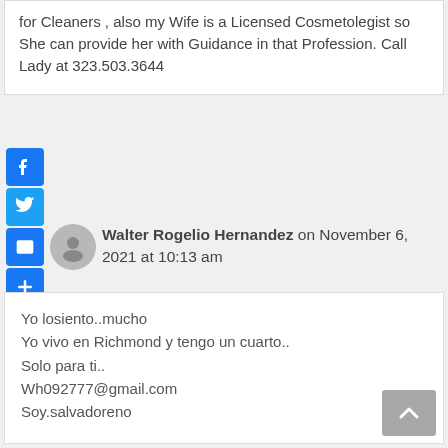for Cleaners , also my Wife is a Licensed Cosmetolegist so She can provide her with Guidance in that Profession. Call Lady at 323.503.3644
[Figure (infographic): Social sharing icon buttons: Facebook (blue F), Twitter (blue bird), Email (blue envelope), Share/Plus (blue plus)]
Walter Rogelio Hernandez on November 6, 2021 at 10:13 am
Yo losiento..mucho
Yo vivo en Richmond y tengo un cuarto..
Solo para ti..
Wh092777@gmail.com
Soy.salvadoreno